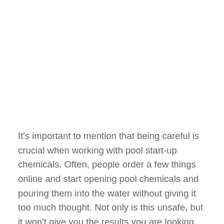It's important to mention that being careful is crucial when working with pool start-up chemicals. Often, people order a few things online and start opening pool chemicals and pouring them into the water without giving it too much thought. Not only is this unsafe, but it won't give you the results you are looking for in